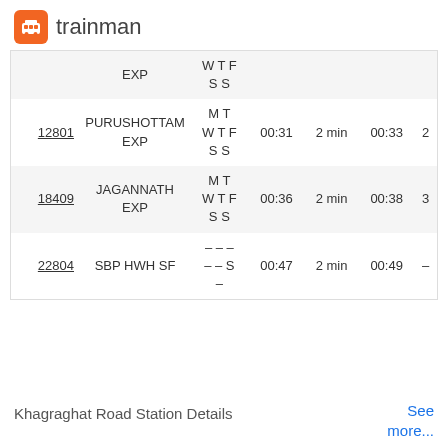trainman
| Train No | Train Name | Days | Arrival | Halt | Departure | Platform |
| --- | --- | --- | --- | --- | --- | --- |
|  | EXP | W T F
S S |  |  |  |  |
| 12801 | PURUSHOTTAM EXP | M T
W T F
S S | 00:31 | 2 min | 00:33 | 2 |
| 18409 | JAGANNATH EXP | M T
W T F
S S | 00:36 | 2 min | 00:38 | 3 |
| 22804 | SBP HWH SF | - - -
- - S
- | 00:47 | 2 min | 00:49 | - |
Khagraghat Road Station Details
See more...